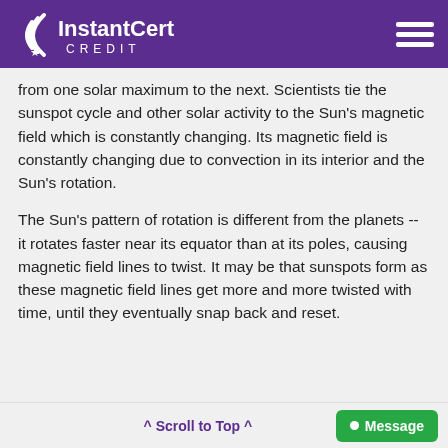InstantCert CREDIT
from one solar maximum to the next. Scientists tie the sunspot cycle and other solar activity to the Sun's magnetic field which is constantly changing. Its magnetic field is constantly changing due to convection in its interior and the Sun's rotation.
The Sun's pattern of rotation is different from the planets -- it rotates faster near its equator than at its poles, causing magnetic field lines to twist. It may be that sunspots form as these magnetic field lines get more and more twisted with time, until they eventually snap back and reset.
^ Scroll to Top ^   • Message